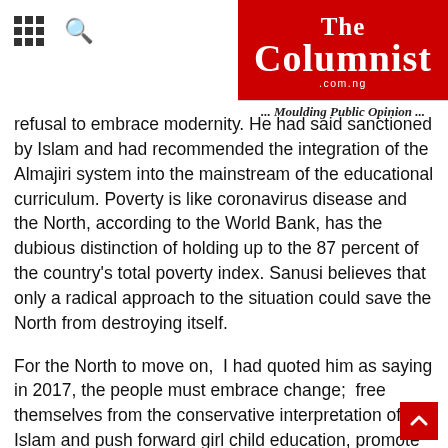The Columnist .com.ng — ... Moulding Public Opinion ...
refusal to embrace modernity. He had said sanctioned by Islam and had recommended the integration of the Almajiri system into the mainstream of the educational curriculum. Poverty is like coronavirus disease and the North, according to the World Bank, has the dubious distinction of holding up to the 87 percent of the country's total poverty index. Sanusi believes that only a radical approach to the situation could save the North from destroying itself.
For the North to move on,  I had quoted him as saying in 2017, the people must embrace change;  free themselves from the conservative interpretation of Islam and push forward girl child education, promote science and technology, fight the current level of civilization which is held down by too many cultural inhibitions.
Apparently, this sweet reasonableness  was bad music to the ears of the establishment. The removal of this self-confessed apostle of Bala Usman's brand of socialist radicalism,  may not solve any problem, except to deny him the royal rostrum,  from which to thunder his